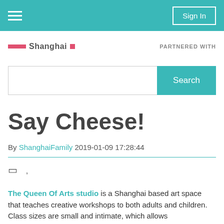Sign In
[Figure (logo): ShanghaiFamily logo with red bars and text, PARTNERED WITH label on the right]
[Figure (screenshot): Search input box with teal Search button]
Say Cheese!
By ShanghaiFamily 2019-01-09 17:28:44
[Figure (other): Social share icons area with bracket symbol and comma]
The Queen Of Arts studio is a Shanghai based art space that teaches creative workshops to both adults and children. Class sizes are small and intimate, which allows